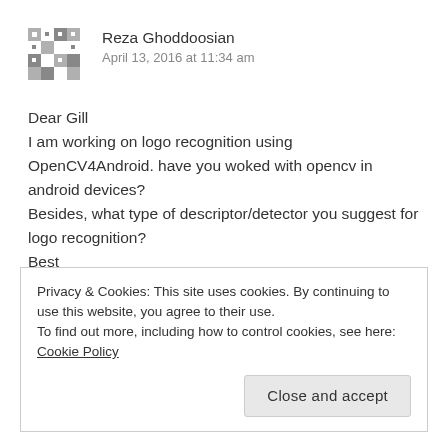[Figure (illustration): Geometric pixel-style avatar icon in grey and white squares pattern]
Reza Ghoddoosian
April 13, 2016 at 11:34 am
Dear Gill
I am working on logo recognition using OpenCV4Android. have you woked with opencv in android devices? Besides, what type of descriptor/detector you suggest for logo recognition?
Best
Privacy & Cookies: This site uses cookies. By continuing to use this website, you agree to their use.
To find out more, including how to control cookies, see here: Cookie Policy
Close and accept